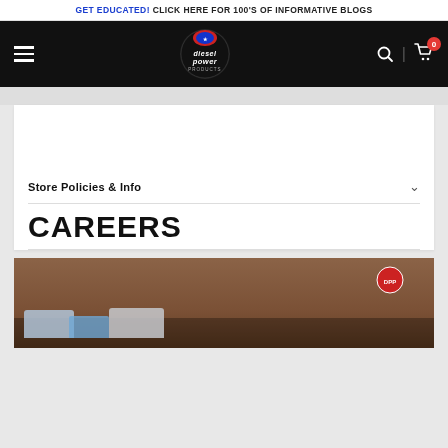GET EDUCATED! CLICK HERE FOR 100'S OF INFORMATIVE BLOGS
[Figure (logo): Diesel Power Products logo — stylized text 'diesel power PRODUCTS' with American flag motif on a round emblem, on black navbar background]
Store Policies & Info
CAREERS
[Figure (photo): Exterior of Diesel Power Products store — brick building with trucks and a Jeep parked in front, company logo sign on wall]